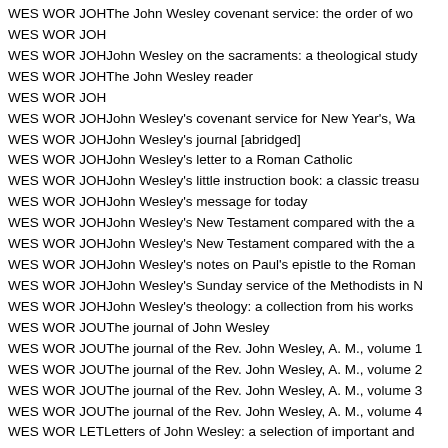WES WOR JOH The John Wesley covenant service: the order of wo...
WES WOR JOH
WES WOR JOH John Wesley on the sacraments: a theological study
WES WOR JOH The John Wesley reader
WES WOR JOH
WES WOR JOH John Wesley's covenant service for New Year's, Wa...
WES WOR JOH John Wesley's journal [abridged]
WES WOR JOH John Wesley's letter to a Roman Catholic
WES WOR JOH John Wesley's little instruction book: a classic treasu...
WES WOR JOH John Wesley's message for today
WES WOR JOH John Wesley's New Testament compared with the a...
WES WOR JOH John Wesley's New Testament compared with the a...
WES WOR JOH John Wesley's notes on Paul's epistle to the Roman...
WES WOR JOH John Wesley's Sunday service of the Methodists in N...
WES WOR JOH John Wesley's theology: a collection from his works
WES WOR JOU The journal of John Wesley
WES WOR JOU The journal of the Rev. John Wesley, A. M., volume 1
WES WOR JOU The journal of the Rev. John Wesley, A. M., volume 2
WES WOR JOU The journal of the Rev. John Wesley, A. M., volume 3
WES WOR JOU The journal of the Rev. John Wesley, A. M., volume 4
WES WOR LET Letters of John Wesley: a selection of important and...
WES WOR LIV Living thoughts of John Wesley